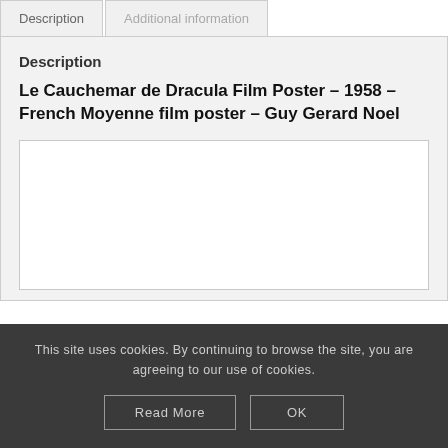Description | Additional information
Description
Le Cauchemar de Dracula Film Poster – 1958 – French Moyenne film poster – Guy Gerard Noel
[Figure (other): Empty white rectangular area below the product title, bordered by a light gray border, representing a content/image placeholder region.]
This site uses cookies. By continuing to browse the site, you are agreeing to our use of cookies.
Read More | OK